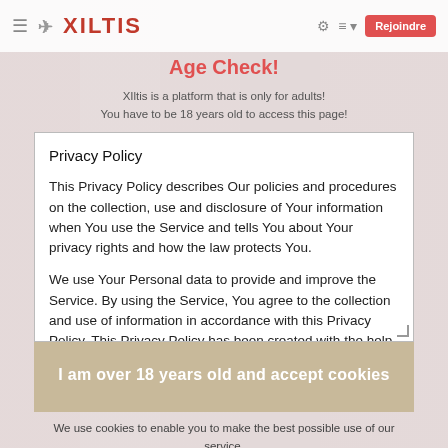XILTIS
Age Check!
XIltis is a platform that is only for adults! You have to be 18 years old to access this page!
Privacy Policy
This Privacy Policy describes Our policies and procedures on the collection, use and disclosure of Your information when You use the Service and tells You about Your privacy rights and how the law protects You.
We use Your Personal data to provide and improve the Service. By using the Service, You agree to the collection and use of information in accordance with this Privacy Policy. This Privacy Policy has been created with the help of the Privacy Policy Generator.
Interpretation and Definitions
I am over 18 years old and accept cookies
We use cookies to enable you to make the best possible use of our service.